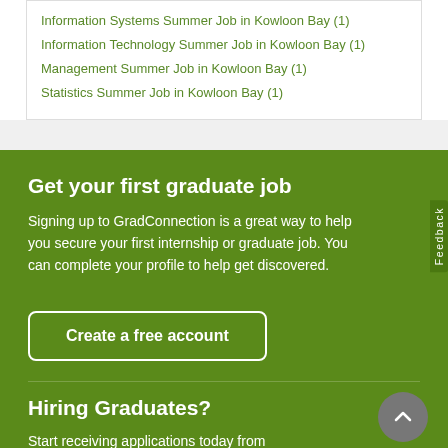Information Systems Summer Job in Kowloon Bay (1)
Information Technology Summer Job in Kowloon Bay (1)
Management Summer Job in Kowloon Bay (1)
Statistics Summer Job in Kowloon Bay (1)
Get your first graduate job
Signing up to GradConnection is a great way to help you secure your first internship or graduate job. You can complete your profile to help get discovered.
Create a free account
Hiring Graduates?
Start receiving applications today from GradConnection's